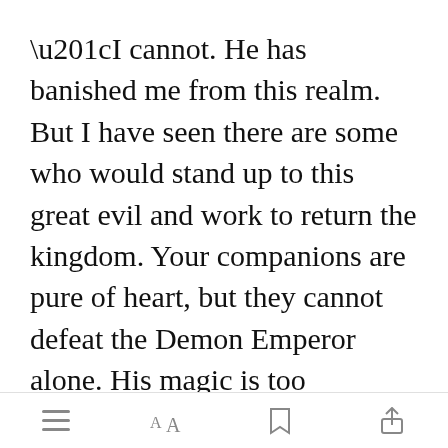“I cannot. He has banished me from this realm. But I have seen there are some who would stand up to this great evil and work to return the kingdom. Your companions are pure of heart, but they cannot defeat the Demon Emperor alone. His magic is too strong.”
Jack frowned. If they couldn’t defeat the Demon Emperor, he would
[Figure (other): Green 'Open in app' badge overlay button]
Bottom navigation bar with menu, font, bookmark, and share icons